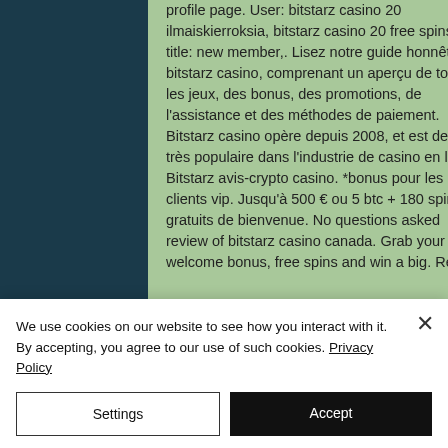[Figure (screenshot): Dark blue/teal background with stars or bokeh light effects visible on the right portion of the image.]
profile page. User: bitstarz casino 20 ilmaiskierroksia, bitstarz casino 20 free spins, title: new member,. Lisez notre guide honnête du bitstarz casino, comprenant un aperçu de tous les jeux, des bonus, des promotions, de l'assistance et des méthodes de paiement. Bitstarz casino opère depuis 2008, et est devenu très populaire dans l'industrie de casino en ligne. Bitstarz avis-crypto casino. *bonus pour les clients vip. Jusqu'à 500 € ou 5 btc + 180 spins gratuits de bienvenue. No questions asked review of bitstarz casino canada. Grab your welcome bonus, free spins and win a big. Read
We use cookies on our website to see how you interact with it. By accepting, you agree to our use of such cookies. Privacy Policy
Settings
Accept